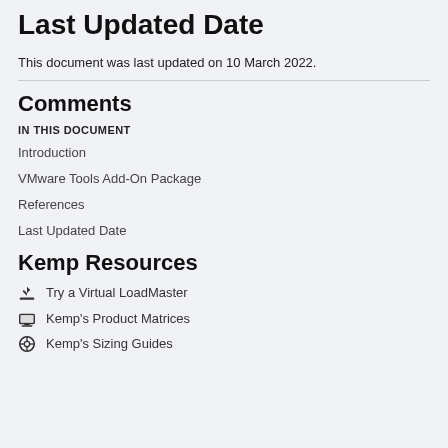Last Updated Date
This document was last updated on 10 March 2022.
Comments
IN THIS DOCUMENT
Introduction
VMware Tools Add-On Package
References
Last Updated Date
Kemp Resources
Try a Virtual LoadMaster
Kemp's Product Matrices
Kemp's Sizing Guides